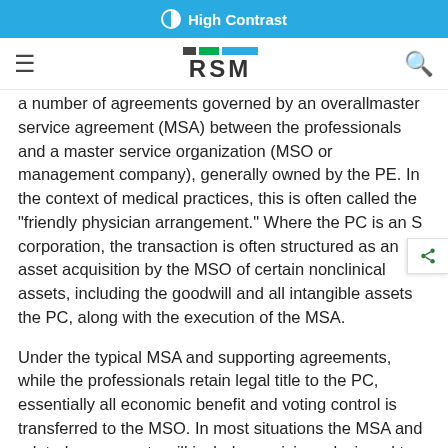High Contrast
[Figure (logo): RSM logo with colored blocks above the letters RSM]
a number of agreements governed by an overallmaster service agreement (MSA) between the professionals and a master service organization (MSO or management company), generally owned by the PE. In the context of medical practices, this is often called the "friendly physician arrangement." Where the PC is an S corporation, the transaction is often structured as an asset acquisition by the MSO of certain nonclinical assets, including the goodwill and all intangible assets the PC, along with the execution of the MSA.
Under the typical MSA and supporting agreements, while the professionals retain legal title to the PC, essentially all economic benefit and voting control is transferred to the MSO. In most situations the MSA and related agreements will include provisions designed to